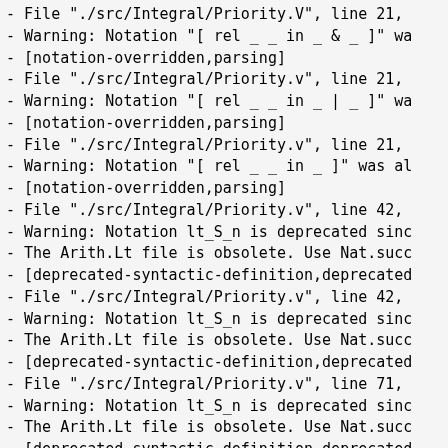- File "./src/Integral/Priority.V", line 21,
- Warning: Notation "[ rel _ _ in _ & _ ]" wa
- [notation-overridden,parsing]
- File "./src/Integral/Priority.v", line 21,
- Warning: Notation "[ rel _ _ in _ | _ ]" wa
- [notation-overridden,parsing]
- File "./src/Integral/Priority.v", line 21,
- Warning: Notation "[ rel _ _ in _ ]" was al
- [notation-overridden,parsing]
- File "./src/Integral/Priority.v", line 42,
- Warning: Notation lt_S_n is deprecated sinc
- The Arith.Lt file is obsolete. Use Nat.succ
- [deprecated-syntactic-definition,deprecated
- File "./src/Integral/Priority.v", line 42,
- Warning: Notation lt_S_n is deprecated sinc
- The Arith.Lt file is obsolete. Use Nat.succ
- [deprecated-syntactic-definition,deprecated
- File "./src/Integral/Priority.v", line 71,
- Warning: Notation lt_S_n is deprecated sinc
- The Arith.Lt file is obsolete. Use Nat.succ
- [deprecated-syntactic-definition,deprecated